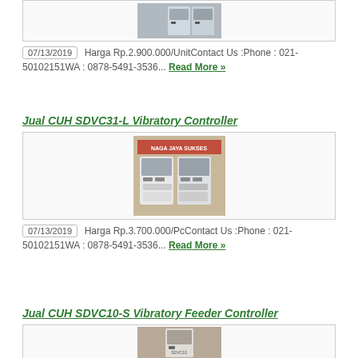[Figure (photo): Product image of vibratory controller device (top of page, partially visible)]
07/13/2019  Harga Rp.2.900.000/UnitContact Us :Phone : 021-50102151WA : 0878-5491-3536... Read More »
Jual CUH SDVC31-L Vibratory Controller
[Figure (photo): Photo of CUH SDVC31-L Vibratory Controller units on a table with NAGA JAYA SUKSES banner]
07/13/2019  Harga Rp.3.700.000/PcContact Us :Phone : 021-50102151WA : 0878-5491-3536... Read More »
Jual CUH SDVC10-S Vibratory Feeder Controller
[Figure (photo): Partial photo of CUH SDVC10-S Vibratory Feeder Controller (bottom of page, partially visible)]